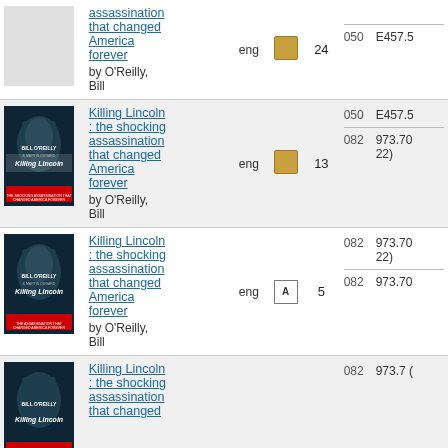| Cover | Title/Author | Lang | Format | Copies | Call Number |
| --- | --- | --- | --- | --- | --- |
| [book cover] | Killing Lincoln: the shocking assassination that changed America forever
by O'Reilly, Bill | eng | [square icon] | 24 | 050 E457.5 |
| [book cover] | Killing Lincoln: the shocking assassination that changed America forever
by O'Reilly, Bill | eng | [square icon] | 13 | 050 E457.5 / 082 973.70 22) |
| [book cover] | Killing Lincoln: the shocking assassination that changed America forever
by O'Reilly, Bill | eng | [A icon] | 5 | 082 973.70 22) / 082 973.70 |
| [book cover] | Killing Lincoln: the shocking assassination that changed America forever | eng |  |  | 082 973.7 ( |